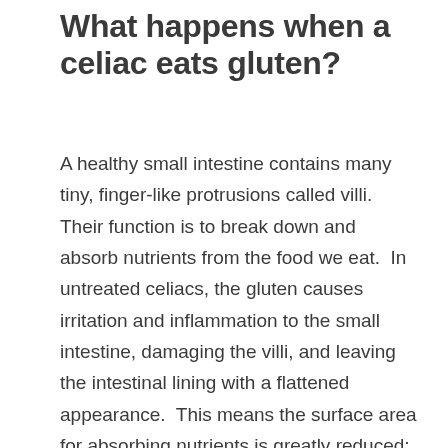What happens when a celiac eats gluten?
A healthy small intestine contains many tiny, finger-like protrusions called villi.  Their function is to break down and absorb nutrients from the food we eat.  In untreated celiacs, the gluten causes irritation and inflammation to the small intestine, damaging the villi, and leaving the intestinal lining with a flattened appearance.  This means the surface area for absorbing nutrients is greatly reduced; leading to deficiencies in vitamins, minerals, amino acids and fats.  Because of this, untreated celiacs usually suffer with fatigue, anemia, a weak immune system and digestive upsets